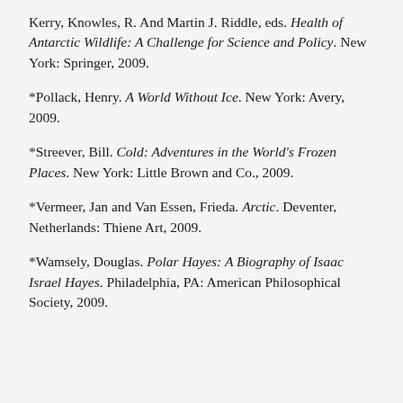Kerry, Knowles, R. And Martin J. Riddle, eds. Health of Antarctic Wildlife: A Challenge for Science and Policy. New York: Springer, 2009.
*Pollack, Henry. A World Without Ice. New York: Avery, 2009.
*Streever, Bill. Cold: Adventures in the World's Frozen Places. New York: Little Brown and Co., 2009.
*Vermeer, Jan and Van Essen, Frieda. Arctic. Deventer, Netherlands: Thiene Art, 2009.
*Wamsely, Douglas. Polar Hayes: A Biography of Isaac Israel Hayes. Philadelphia, PA: American Philosophical Society, 2009.